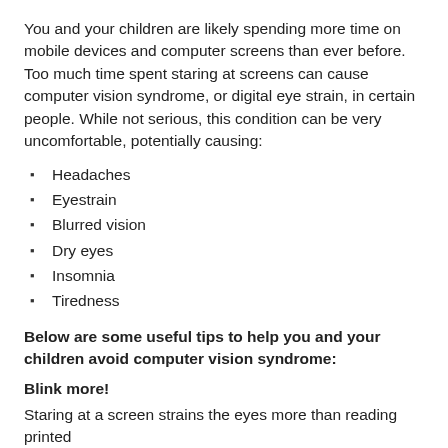You and your children are likely spending more time on mobile devices and computer screens than ever before. Too much time spent staring at screens can cause computer vision syndrome, or digital eye strain, in certain people. While not serious, this condition can be very uncomfortable, potentially causing:
Headaches
Eyestrain
Blurred vision
Dry eyes
Insomnia
Tiredness
Below are some useful tips to help you and your children avoid computer vision syndrome:
Blink more!
Staring at a screen strains the eyes more than reading printed